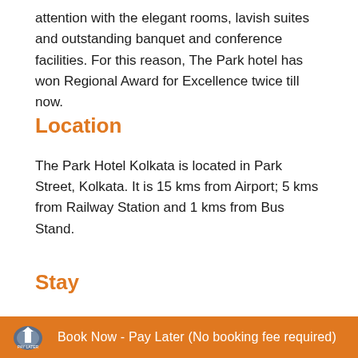attention with the elegant rooms, lavish suites and outstanding banquet and conference facilities. For this reason, The Park hotel has won Regional Award for Excellence twice till now.
Location
The Park Hotel Kolkata is located in Park Street, Kolkata. It is 15 kms from Airport; 5 kms from Railway Station and 1 kms from Bus Stand.
Stay
Book Now - Pay Later (No booking fee required)